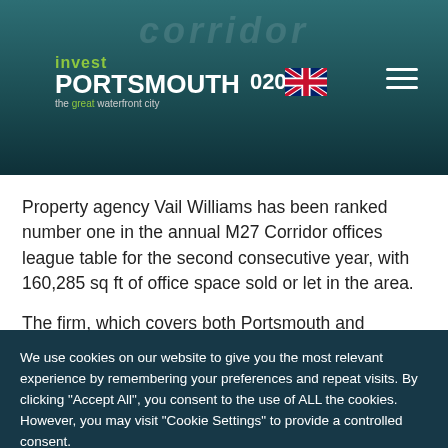invest PORTSMOUTH 020 the great waterfront city
Property agency Vail Williams has been ranked number one in the annual M27 Corridor offices league table for the second consecutive year, with 160,285 sq ft of office space sold or let in the area.
The firm, which covers both Portsmouth and
We use cookies on our website to give you the most relevant experience by remembering your preferences and repeat visits. By clicking "Accept All", you consent to the use of ALL the cookies. However, you may visit "Cookie Settings" to provide a controlled consent.